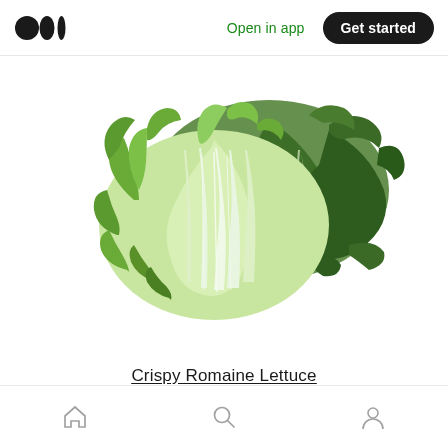Open in app | Get started
[Figure (photo): Two heads of crispy romaine lettuce, showing pale green inner ribs and darker outer leaves, on a white background.]
Crispy Romaine Lettuce
Home | Search | Profile navigation icons